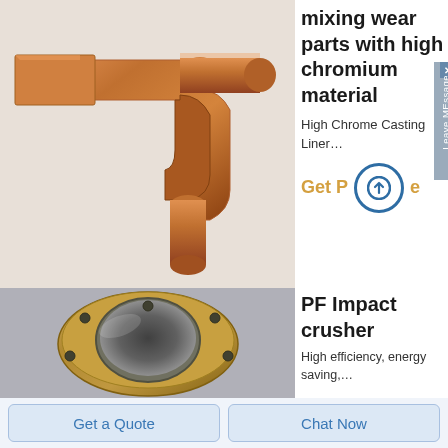[Figure (photo): Copper-colored elbow pipe fitting / mixing wear part with high chromium material, shown against white background]
mixing wear parts with high chromium material
High Chrome Casting Liner…
Get Price
[Figure (photo): Bronze/brass circular flange bearing part, ring-shaped with bolt holes, shown on gray surface]
PF Impact crusher
High efficiency, energy saving,…
Get a Quote
Chat Now